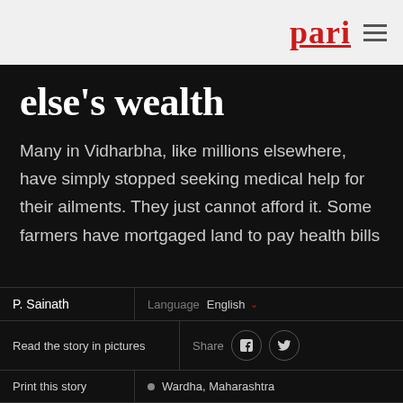pari
else's wealth
Many in Vidharbha, like millions elsewhere, have simply stopped seeking medical help for their ailments. They just cannot afford it. Some farmers have mortgaged land to pay health bills
P. Sainath
Language English
Read the story in pictures
Share
Print this story
Wardha, Maharashtra